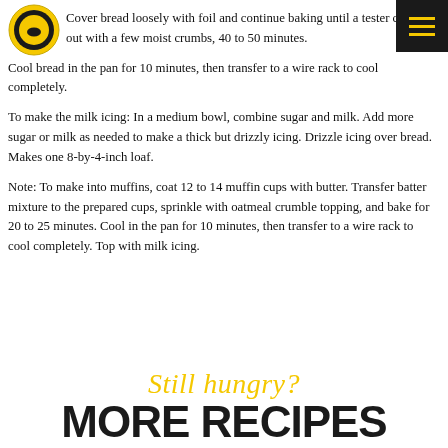[Figure (logo): Real California Milk circular logo badge in yellow and black]
Cover bread loosely with foil and continue baking until a tester comes out with a few moist crumbs, 40 to 50 minutes.
Cool bread in the pan for 10 minutes, then transfer to a wire rack to cool completely.
To make the milk icing: In a medium bowl, combine sugar and milk. Add more sugar or milk as needed to make a thick but drizzly icing. Drizzle icing over bread. Makes one 8-by-4-inch loaf.
Note: To make into muffins, coat 12 to 14 muffin cups with butter. Transfer batter mixture to the prepared cups, sprinkle with oatmeal crumble topping, and bake for 20 to 25 minutes. Cool in the pan for 10 minutes, then transfer to a wire rack to cool completely. Top with milk icing.
Still hungry?
MORE RECIPES